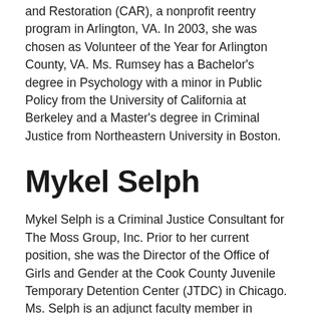and Restoration (CAR), a nonprofit reentry program in Arlington, VA. In 2003, she was chosen as Volunteer of the Year for Arlington County, VA. Ms. Rumsey has a Bachelor's degree in Psychology with a minor in Public Policy from the University of California at Berkeley and a Master's degree in Criminal Justice from Northeastern University in Boston.
Mykel Selph
Mykel Selph is a Criminal Justice Consultant for The Moss Group, Inc. Prior to her current position, she was the Director of the Office of Girls and Gender at the Cook County Juvenile Temporary Detention Center (JTDC) in Chicago. Ms. Selph is an adjunct faculty member in DePaul University's Peace, Justice and Conflict Studies department. At Cook County, she led efforts to develop and implement culturally relevant recommendations to